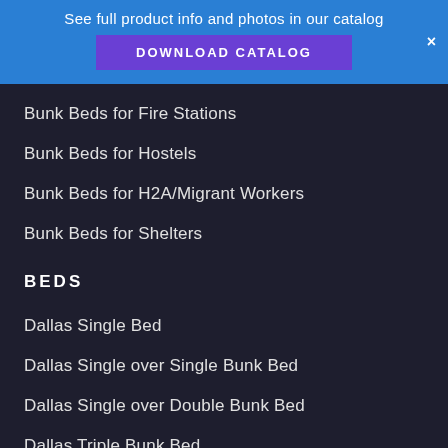See full product info and photos in our catalog
DOWNLOAD CATALOG
Bunk Beds for Fire Stations
Bunk Beds for Hostels
Bunk Beds for H2A/Migrant Workers
Bunk Beds for Shelters
BEDS
Dallas Single Bed
Dallas Single over Single Bunk Bed
Dallas Single over Double Bunk Bed
Dallas Triple Bunk Bed